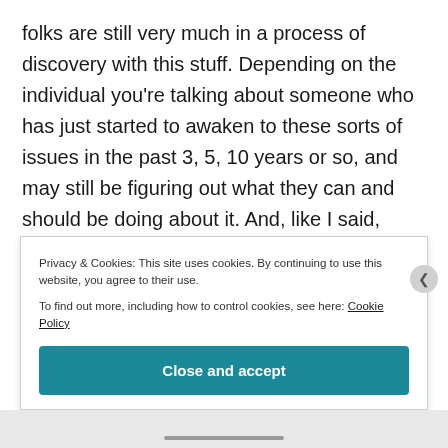folks are still very much in a process of discovery with this stuff. Depending on the individual you're talking about someone who has just started to awaken to these sorts of issues in the past 3, 5, 10 years or so, and may still be figuring out what they can and should be doing about it. And, like I said, often this discovery is coming in the midst of drastic life changes in which we find ourselves kicked out, up-rooted, and scrambling to figure out what comes next and where we ourselves fit. Yes, a few emergent folks have a measure of privilege
Privacy & Cookies: This site uses cookies. By continuing to use this website, you agree to their use.
To find out more, including how to control cookies, see here: Cookie Policy
Close and accept